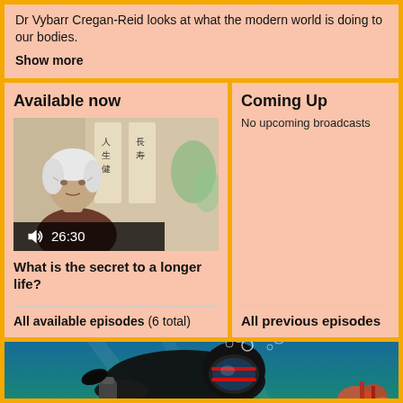Dr Vybarr Cregan-Reid looks at what the modern world is doing to our bodies.
Show more
Available now
Coming Up
No upcoming broadcasts
[Figure (photo): Elderly Japanese woman with white hair, seated near calligraphy scrolls, with video overlay showing speaker icon and duration 26:30]
What is the secret to a longer life?
All available episodes (6 total)
All previous episodes
[Figure (photo): Scuba diver underwater with bubbles, wearing black wetsuit and red-accented mask, coral visible in background, SCUBAPRO branding visible]